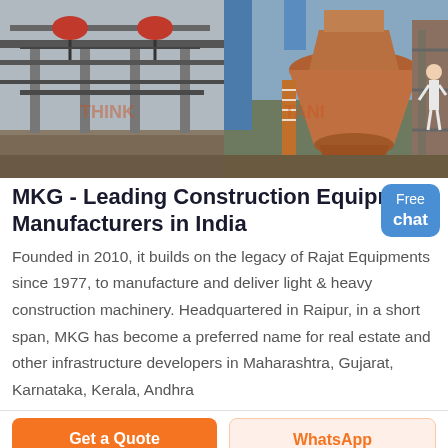[Figure (photo): Two side-by-side industrial/construction equipment photos. Left: large overhead conveyor/bridge structure with industrial machinery below, overcast sky. Right: Large cone-shaped crusher or industrial vessel (orange/rust colored) with scaffolding and blue components visible.]
MKG - Leading Construction Equipment Manufacturers in India
Founded in 2010, it builds on the legacy of Rajat Equipments since 1977, to manufacture and deliver light & heavy construction machinery. Headquartered in Raipur, in a short span, MKG has become a preferred name for real estate and other infrastructure developers in Maharashtra, Gujarat, Karnataka, Kerala, Andhra
Get a Quote
WhatsApp